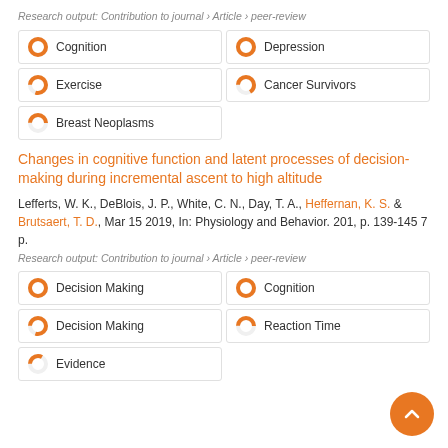Research output: Contribution to journal › Article › peer-review
Cognition (100%)
Depression (100%)
Exercise (80%)
Cancer Survivors (66%)
Breast Neoplasms (50%)
Changes in cognitive function and latent processes of decision-making during incremental ascent to high altitude
Lefferts, W. K., DeBlois, J. P., White, C. N., Day, T. A., Heffernan, K. S. & Brutsaert, T. D., Mar 15 2019, In: Physiology and Behavior. 201, p. 139-145 7 p.
Research output: Contribution to journal › Article › peer-review
Decision Making (100%)
Cognition (100%)
Decision Making (80%)
Reaction Time (50%)
Evidence (33%)